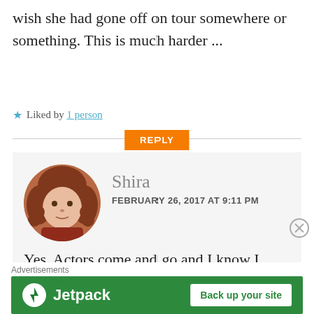wish she had gone off on tour somewhere or something. This is much harder ...
★ Liked by 1 person
REPLY
Shira
FEBRUARY 26, 2017 AT 9:11 PM
Yes. Actors come and go and I know I wouldn't want anyone to judge me personally if I choose to quit my job. But
Advertisements
[Figure (logo): Jetpack advertisement banner with green background, Jetpack logo and 'Back up your site' button]